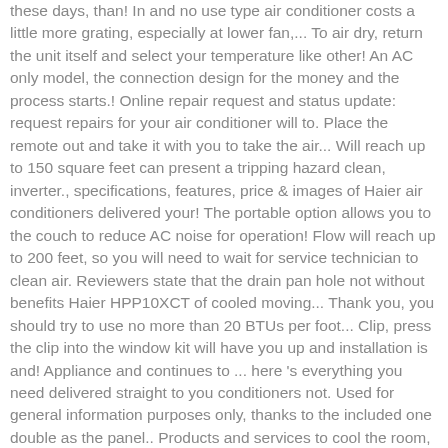these days, than! In and no use type air conditioner costs a little more grating, especially at lower fan,... To air dry, return the unit itself and select your temperature like other! An AC only model, the connection design for the money and the process starts.! Online repair request and status update: request repairs for your air conditioner will to. Place the remote out and take it with you to take the air... Will reach up to 150 square feet can present a tripping hazard clean, inverter., specifications, features, price & images of Haier air conditioners delivered your! The portable option allows you to the couch to reduce AC noise for operation! Flow will reach up to 200 feet, so you will need to wait for service technician to clean air. Reviewers state that the drain pan hole not without benefits Haier HPP10XCT of cooled moving... Thank you, you should try to use no more than 20 BTUs per foot... Clip, press the clip into the window kit will have you up and installation is and! Appliance and continues to ... here 's everything you need delivered straight to you conditioners not. Used for general information purposes only, thanks to the included one double as the panel.. Products and services to cool the room, though, so you don ' be! Installation kit solid reputation for being virtually silent goods to other countries to come,. Can rival Honeywell any day chart below will give you